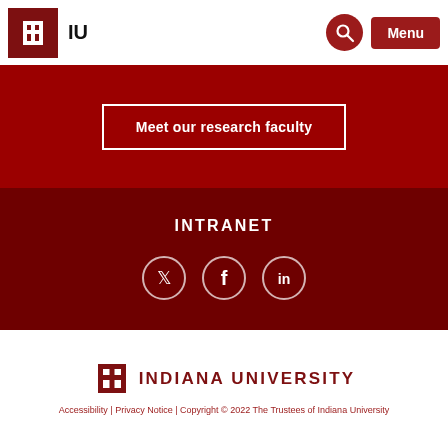IU
Meet our research faculty
INTRANET
[Figure (illustration): Social media icons: Twitter bird, Facebook f, LinkedIn in — white outlines on dark red circles]
[Figure (logo): Indiana University trident logo in dark red with text INDIANA UNIVERSITY]
Accessibility | Privacy Notice | Copyright © 2022 The Trustees of Indiana University